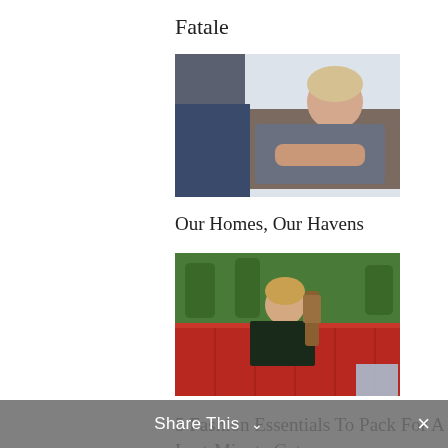Fatale
[Figure (photo): Woman reclining on a couch, light-colored background, blue and dark tones]
Our Homes, Our Havens
[Figure (photo): Woman sitting in a red vintage car outdoors with trees in background, holding a guitar]
5 Fashion Essentials To Pack For A Last-Minute Getaway
[Figure (photo): Person's hands with pink/blush background - partially visible]
Share This ˅  ✕